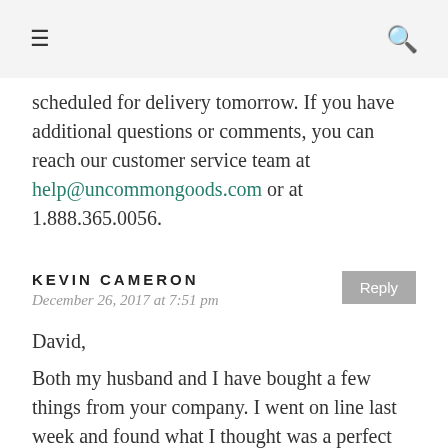≡  🔍
scheduled for delivery tomorrow. If you have additional questions or comments, you can reach our customer service team at help@uncommongoods.com or at 1.888.365.0056.
KEVIN CAMERON
December 26, 2017 at 7:51 pm
David,
Both my husband and I have bought a few things from your company. I went on line last week and found what I thought was a perfect gift for ken. The Sand Art, ordered